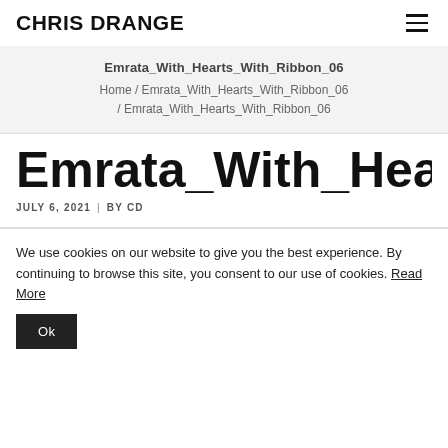CHRIS DRANGE
Emrata_With_Hearts_With_Ribbon_06
Home / Emrata_With_Hearts_With_Ribbon_06 / Emrata_With_Hearts_With_Ribbon_06
Emrata_With_Hearts_With
JULY 6, 2021  |  BY CD
We use cookies on our website to give you the best experience. By continuing to browse this site, you consent to our use of cookies. Read More
Ok